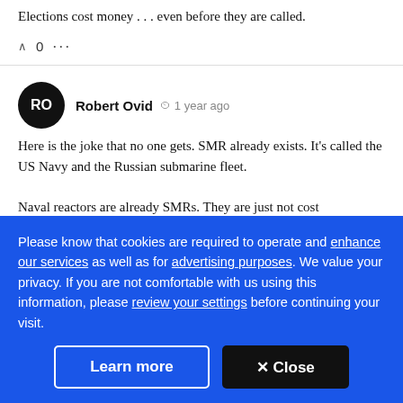Elections cost money . . . even before they are called.
^ 0 ...
Robert Ovid  1 year ago
Here is the joke that no one gets. SMR already exists. It's called the US Navy and the Russian submarine fleet.

Naval reactors are already SMRs. They are just not cost
Please know that cookies are required to operate and enhance our services as well as for advertising purposes. We value your privacy. If you are not comfortable with us using this information, please review your settings before continuing your visit.